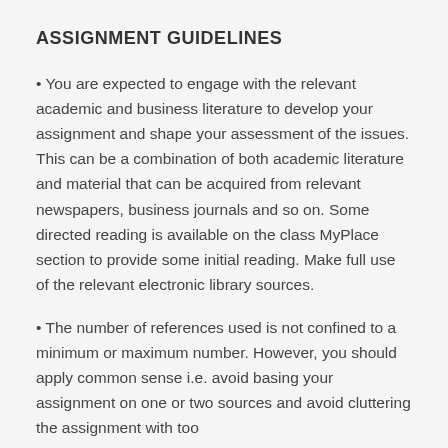ASSIGNMENT GUIDELINES
You are expected to engage with the relevant academic and business literature to develop your assignment and shape your assessment of the issues. This can be a combination of both academic literature and material that can be acquired from relevant newspapers, business journals and so on. Some directed reading is available on the class MyPlace section to provide some initial reading. Make full use of the relevant electronic library sources.
The number of references used is not confined to a minimum or maximum number. However, you should apply common sense i.e. avoid basing your assignment on one or two sources and avoid cluttering the assignment with too